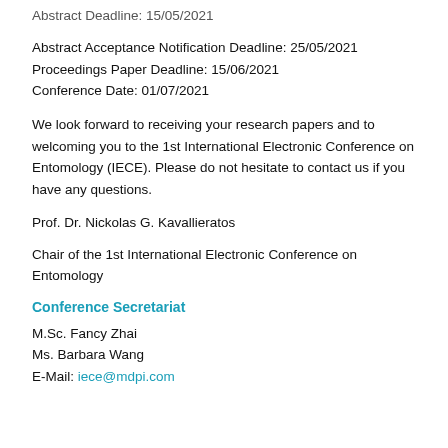Abstract Deadline: 15/05/2021
Abstract Acceptance Notification Deadline: 25/05/2021
Proceedings Paper Deadline: 15/06/2021
Conference Date: 01/07/2021
We look forward to receiving your research papers and to welcoming you to the 1st International Electronic Conference on Entomology (IECE). Please do not hesitate to contact us if you have any questions.
Prof. Dr. Nickolas G. Kavallieratos
Chair of the 1st International Electronic Conference on Entomology
Conference Secretariat
M.Sc. Fancy Zhai
Ms. Barbara Wang
E-Mail: iece@mdpi.com